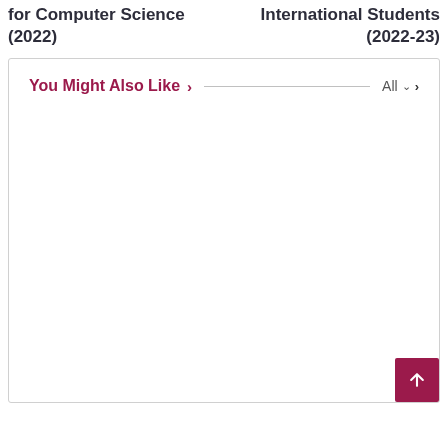for Computer Science (2022)
International Students (2022-23)
You Might Also Like ›